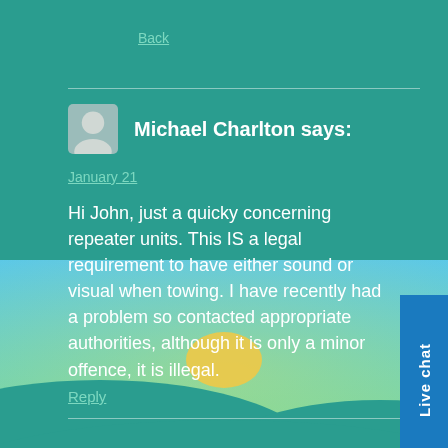Back
Michael Charlton says:
January 21
Hi John, just a quicky concerning repeater units. This IS a legal requirement to have either sound or visual when towing. I have recently had a problem so contacted appropriate authorities, although it is only a minor offence, it is illegal.
Reply
John Peall says:
January 15, 4:50 am
is a dashboard light or audible warning still required for caravan lights when towing. As my new car has